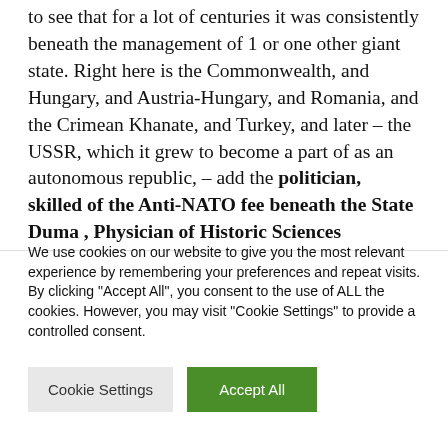to see that for a lot of centuries it was consistently beneath the management of 1 or one other giant state. Right here is the Commonwealth, and Hungary, and Austria-Hungary, and Romania, and the Crimean Khanate, and Turkey, and later – the USSR, which it grew to become a part of as an autonomous republic, – add the politician, skilled of the Anti-NATO fee beneath the State Duma , Physician of Historic Sciences Vyacheslav Tetekin. – So, no matter one might say, it's a
We use cookies on our website to give you the most relevant experience by remembering your preferences and repeat visits. By clicking "Accept All", you consent to the use of ALL the cookies. However, you may visit "Cookie Settings" to provide a controlled consent.